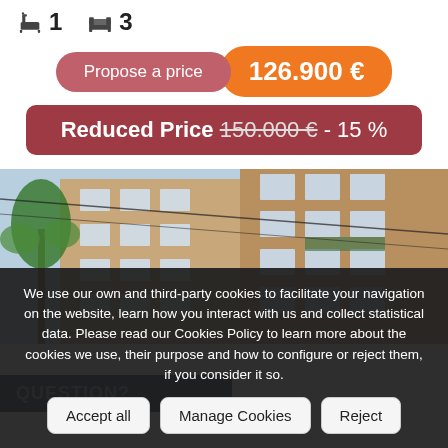1 bath, 3 beds
Propose a price  126.900 €
Reduced Price 150.000 € - 15 %
[Figure (photo): Exterior photo of a multi-storey residential apartment building with palm trees, taken from a low angle looking up, showing brick facade with balconies and windows.]
We use our own and third-party cookies to facilitate your navigation on the website, learn how you interact with us and collect statistical data. Please read our Cookies Policy to learn more about the cookies we use, their purpose and how to configure or reject them, if you consider it so.
Accept all  Manage Cookies  Reject
QUESTION?